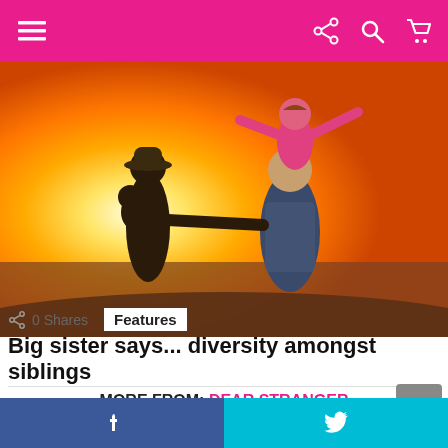Navigation bar with menu, share, search, and cart icons
[Figure (photo): Family silhouette against a sunset sky. A man in a hat holds a baby, another adult has a child sitting on their shoulders with arms outstretched.]
0 Shares    Features
Big sister says... diversity amongst siblings
MORE FROM: DEAR STRANGER
Facebook share | Twitter share